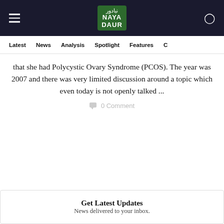[Figure (logo): Naya Daur media logo with green background and Arabic/English text, with hamburger menu and search icon in dark header bar]
Latest  News  Analysis  Spotlight  Features  C
that she had Polycystic Ovary Syndrome (PCOS). The year was 2007 and there was very limited discussion around a topic which even today is not openly talked ...
0 Comment
Get Latest Updates
News delivered to your inbox.